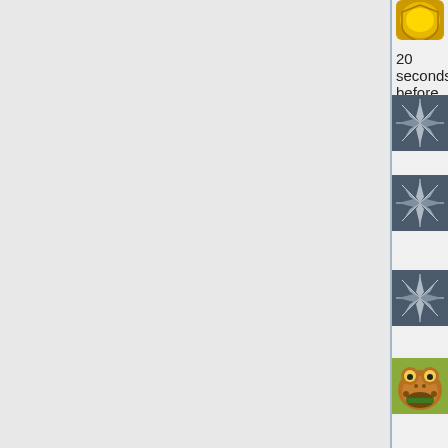[Figure (screenshot): Chat conversation screenshot showing messages from 'struct' and 'eulerscheZahl' with avatar icons. Content: '20 seconds before contest end', 'struct: no', 'struct: I dont even loooked for bugs', 'struct: I have no idea what my bot does', 'eulerscheZahl: there is a bug right in your spelling :P', 'struct: you are right', 'eulerscheZahl: still awake?']